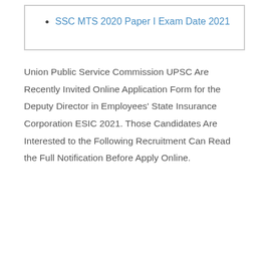SSC MTS 2020 Paper I Exam Date 2021
Union Public Service Commission UPSC Are Recently Invited Online Application Form for the Deputy Director in Employees' State Insurance Corporation ESIC 2021. Those Candidates Are Interested to the Following Recruitment Can Read the Full Notification Before Apply Online.